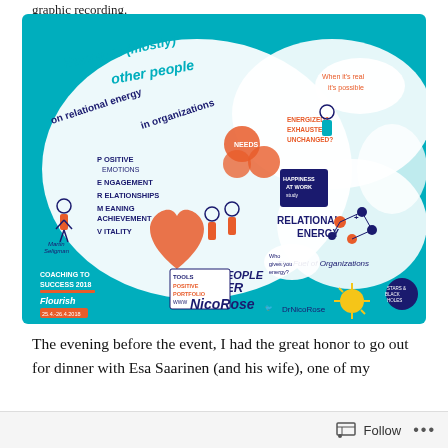graphic recording.
[Figure (illustration): Colorful graphic recording illustration on teal/turquoise background featuring hand-drawn figures, speech bubbles, and text about 'Heaven is (mostly) other people', 'on relational energy in organizations', PERMA elements (Positive Emotions, Engagement, Relationships, Meaning, Achievement), Vitality, Tools, Positive Portfolio, Coaching to Success 2018, Flourish, Nico Rose, DrNicoRose, Relational Energy, The Fuel of Organizations, Other People Matter, When it's real it's possible, Happiness at Work, and various other concepts.]
The evening before the event, I had the great honor to go out for dinner with Esa Saarinen (and his wife), one of my